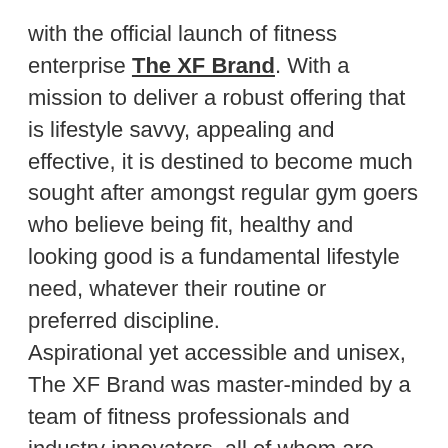with the official launch of fitness enterprise The XF Brand. With a mission to deliver a robust offering that is lifestyle savvy, appealing and effective, it is destined to become much sought after amongst regular gym goers who believe being fit, healthy and looking good is a fundamental lifestyle need, whatever their routine or preferred discipline. Aspirational yet accessible and unisex, The XF Brand was master-minded by a team of fitness professionals and industry innovators, all of whom are experts in their respective fields; their combined first-hand knowledge, skills and experiences fuse seamlessly to create a force to be reckoned with and one to watch. Key players include: Simon William James Lawrence – professional wrestler and industry leader and innovator; Al Snow – professional wrestler, stunt coordinator and TV producer,